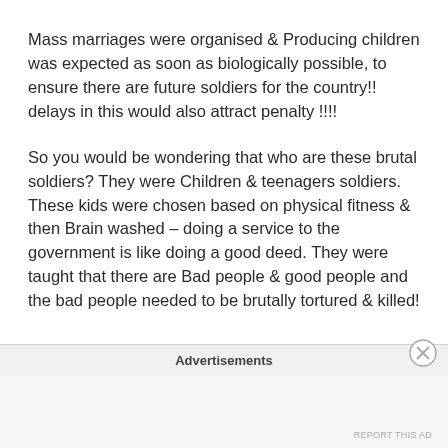Mass marriages were organised & Producing children was expected as soon as biologically possible, to ensure there are future soldiers for the country!! delays in this would also attract penalty !!!!
So you would be wondering that who are these brutal soldiers? They were Children & teenagers soldiers. These kids were chosen based on physical fitness & then Brain washed – doing a service to the government is like doing a good deed. They were taught that there are Bad people & good people and the bad people needed to be brutally tortured & killed!
Advertisements